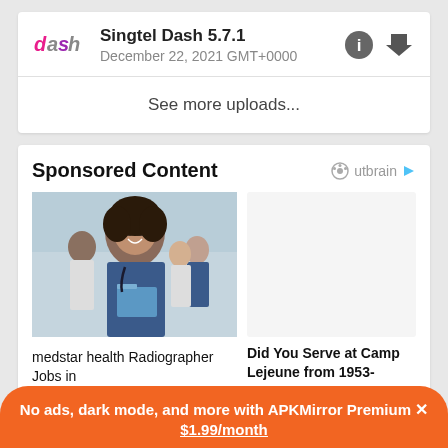Singtel Dash 5.7.1
December 22, 2021 GMT+0000
See more uploads...
Sponsored Content
[Figure (photo): A smiling woman in blue medical scrubs holding a folder, with medical staff in the background]
medstar health Radiographer Jobs in
Did You Serve at Camp Lejeune from 1953- 1987?
No ads, dark mode, and more with APKMirror Premium × $1.99/month